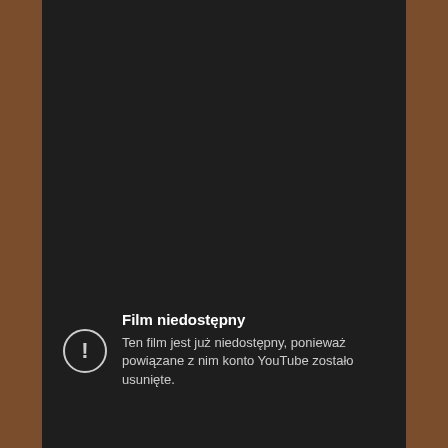[Figure (screenshot): A mobile screenshot showing a YouTube error message on a dark background with a wooden border on the left and right. The error message reads 'Film niedostępny' (Video unavailable) with an exclamation mark icon and the text 'Ten film jest już niedostępny, ponieważ powiązane z nim konto YouTube zostało usunięte.' (This video is no longer available because the YouTube account associated with it has been deleted.)]